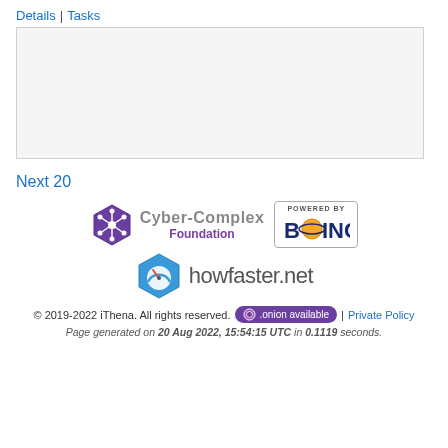Details | Tasks
[Figure (other): Empty gray content box placeholder]
Next 20
[Figure (logo): Cyber-Complex Foundation logo with hexagonal icon and POWERED BY BOINC badge, plus howfaster.net logo below]
© 2019-2022 iThena. All rights reserved. | .onion available | Private Policy
Page generated on 20 Aug 2022, 15:54:15 UTC in 0.1119 seconds.